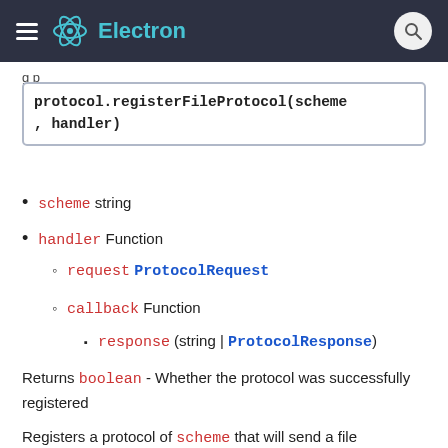Electron
g p
protocol.registerFileProtocol(scheme, handler)
scheme string
handler Function
request ProtocolRequest
callback Function
response (string | ProtocolResponse)
Returns boolean - Whether the protocol was successfully registered
Registers a protocol of scheme that will send a file